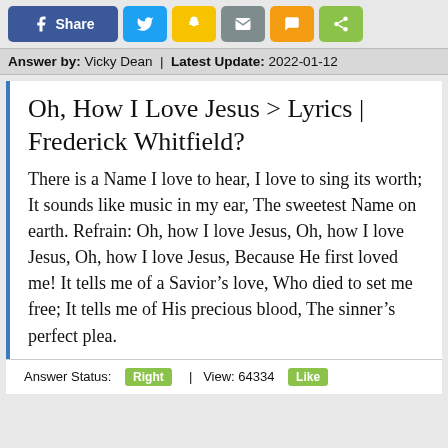[Figure (infographic): Social share buttons row: Facebook Share (blue), Twitter (light blue), Snapchat (yellow), Email (gray), SMS (orange), Share (green)]
Answer by: Vicky Dean | Latest Update: 2022-01-12
Oh, How I Love Jesus > Lyrics | Frederick Whitfield?
There is a Name I love to hear, I love to sing its worth; It sounds like music in my ear, The sweetest Name on earth. Refrain: Oh, how I love Jesus, Oh, how I love Jesus, Oh, how I love Jesus, Because He first loved me! It tells me of a Savior’s love, Who died to set me free; It tells me of His precious blood, The sinner’s perfect plea.
Answer Status: Right | View: 64334 Like